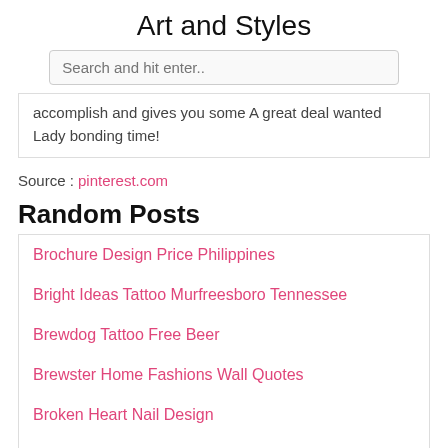Art and Styles
Search and hit enter..
accomplish and gives you some A great deal wanted Lady bonding time!
Source : pinterest.com
Random Posts
Brochure Design Price Philippines
Bright Ideas Tattoo Murfreesboro Tennessee
Brewdog Tattoo Free Beer
Brewster Home Fashions Wall Quotes
Broken Heart Nail Design